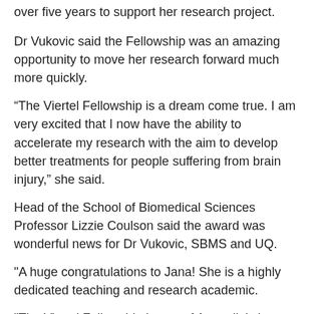over five years to support her research project.
Dr Vukovic said the Fellowship was an amazing opportunity to move her research forward much more quickly.
“The Viertel Fellowship is a dream come true. I am very excited that I now have the ability to accelerate my research with the aim to develop better treatments for people suffering from brain injury,” she said.
Head of the School of Biomedical Sciences Professor Lizzie Coulson said the award was wonderful news for Dr Vukovic, SBMS and UQ.
"A huge congratulations to Jana! She is a highly dedicated teaching and research academic.
"The Viertel Fellowship is one of Australia's best and most prestigious fellowships, and also one of the most competitive, with only two awarded to early- and mid-